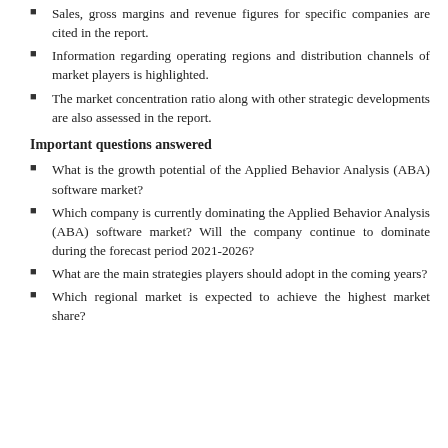Sales, gross margins and revenue figures for specific companies are cited in the report.
Information regarding operating regions and distribution channels of market players is highlighted.
The market concentration ratio along with other strategic developments are also assessed in the report.
Important questions answered
What is the growth potential of the Applied Behavior Analysis (ABA) software market?
Which company is currently dominating the Applied Behavior Analysis (ABA) software market? Will the company continue to dominate during the forecast period 2021-2026?
What are the main strategies players should adopt in the coming years?
Which regional market is expected to achieve the highest market share?